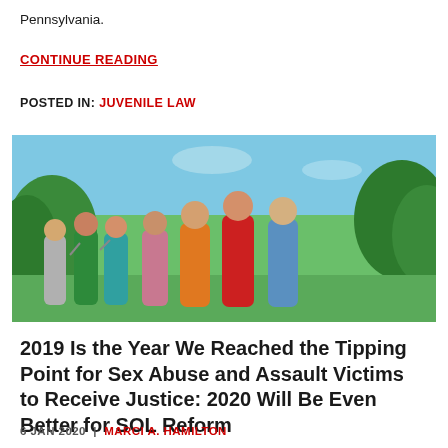Pennsylvania.
CONTINUE READING
POSTED IN: JUVENILE LAW
[Figure (photo): Group of children running happily through a green field with trees in the background and a blue sky above.]
2019 Is the Year We Reached the Tipping Point for Sex Abuse and Assault Victims to Receive Justice: 2020 Will Be Even Better for SOL Reform
6 JAN 2020 | MARCI A. HAMILTON